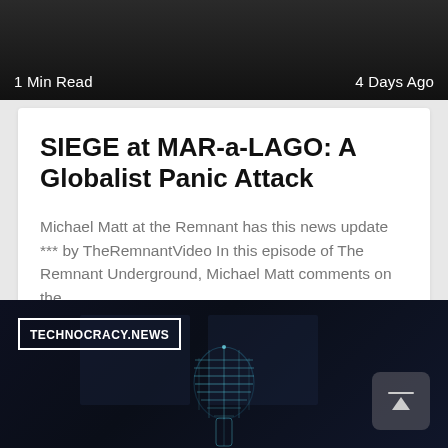[Figure (photo): Dark banner image with figures in the background, showing metadata overlay]
1 Min Read
4 Days Ago
SIEGE at MAR-a-LAGO: A Globalist Panic Attack
Michael Matt at the Remnant has this news update *** by TheRemnantVideo In this episode of The Remnant Underground, Michael Matt comments on the
[Figure (photo): Dark image with a glowing blue wireframe human head model and TECHNOCRACY.NEWS label overlay, and a scroll-up button]
TECHNOCRACY.NEWS